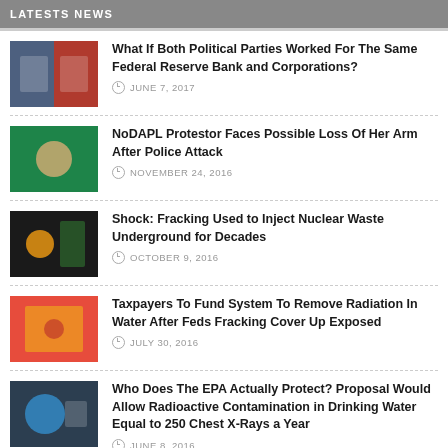LATESTS NEWS
What If Both Political Parties Worked For The Same Federal Reserve Bank and Corporations? | JUNE 7, 2017
NoDAPL Protestor Faces Possible Loss Of Her Arm After Police Attack | NOVEMBER 24, 2016
Shock: Fracking Used to Inject Nuclear Waste Underground for Decades | OCTOBER 9, 2016
Taxpayers To Fund System To Remove Radiation In Water After Feds Fracking Cover Up Exposed | JULY 30, 2016
Who Does The EPA Actually Protect? Proposal Would Allow Radioactive Contamination in Drinking Water Equal to 250 Chest X-Rays a Year | JUNE 8, 2016